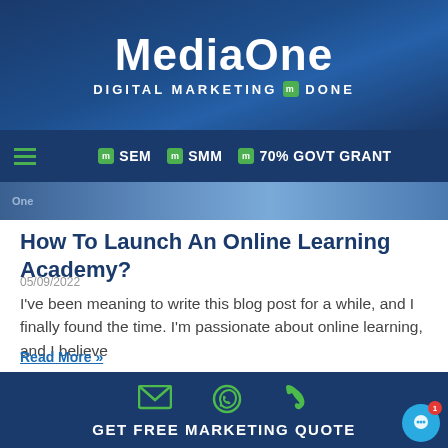MediaOne — DIGITAL MARKETING DONE
[Figure (screenshot): MediaOne website header with logo and navigation bar showing SEM, SMM, 70% GOVT GRANT menu items]
How To Launch An Online Learning Academy?
05/09/2022
I've been meaning to write this blog post for a while, and I finally found the time. I'm passionate about online learning, and I believe
Read More »
[Figure (photo): Partial image showing THE text and a person]
GET FREE MARKETING QUOTE